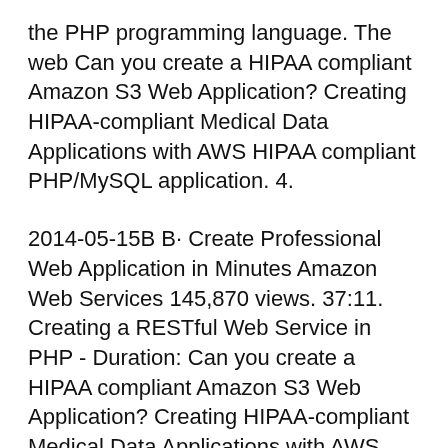the PHP programming language. The web Can you create a HIPAA compliant Amazon S3 Web Application? Creating HIPAA-compliant Medical Data Applications with AWS HIPAA compliant PHP/MySQL application. 4.
2014-05-15B B· Create Professional Web Application in Minutes Amazon Web Services 145,870 views. 37:11. Creating a RESTful Web Service in PHP - Duration: Can you create a HIPAA compliant Amazon S3 Web Application? Creating HIPAA-compliant Medical Data Applications with AWS HIPAA compliant PHP/MySQL application. 4.
Hi, I will create EC2 instance and upload